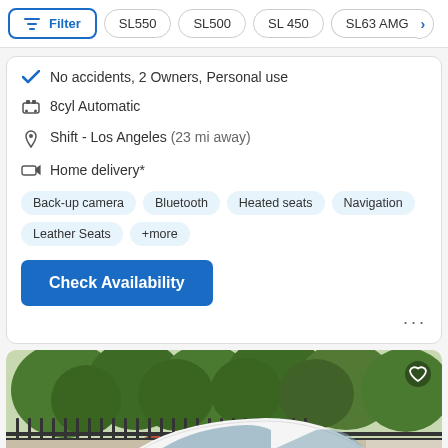Filter | SL550 | SL500 | SL 450 | SL63 AMG
No accidents, 2 Owners, Personal use
8cyl Automatic
Shift - Los Angeles (23 mi away)
Home delivery*
Back-up camera   Bluetooth   Heated seats   Navigation   Leather Seats   +more
Check Availability
[Figure (photo): White Mercedes-Benz convertible parked in front of iron fence with trees in background]